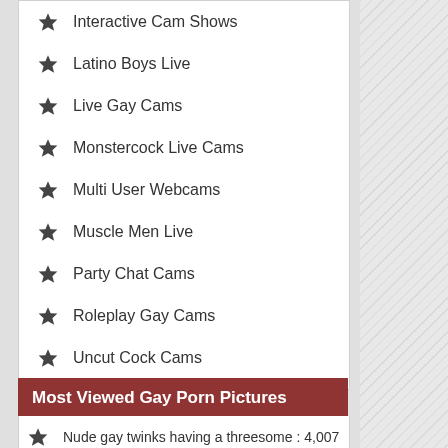Interactive Cam Shows
Latino Boys Live
Live Gay Cams
Monstercock Live Cams
Multi User Webcams
Muscle Men Live
Party Chat Cams
Roleplay Gay Cams
Uncut Cock Cams
Most Viewed Gay Porn Pictures
Nude gay twinks having a threesome : 4,007